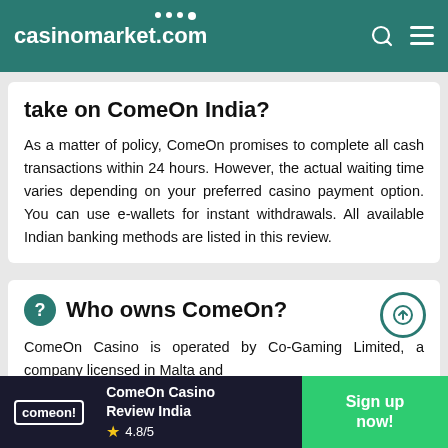casinomarket.com
take on ComeOn India?
As a matter of policy, ComeOn promises to complete all cash transactions within 24 hours. However, the actual waiting time varies depending on your preferred casino payment option. You can use e-wallets for instant withdrawals. All available Indian banking methods are listed in this review.
Who owns ComeOn?
ComeOn Casino is operated by Co-Gaming Limited, a company licensed in Malta and
ComeOn Casino Review India 4.8/5 Sign up now!